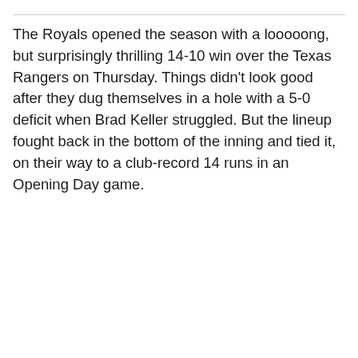The Royals opened the season with a looooong, but surprisingly thrilling 14-10 win over the Texas Rangers on Thursday. Things didn't look good after they dug themselves in a hole with a 5-0 deficit when Brad Keller struggled. But the lineup fought back in the bottom of the inning and tied it, on their way to a club-record 14 runs in an Opening Day game.